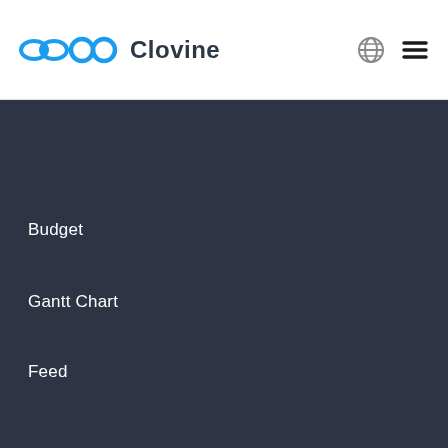Clovine
Budget
Gantt Chart
Feed
Updates
Update Notes
User guide